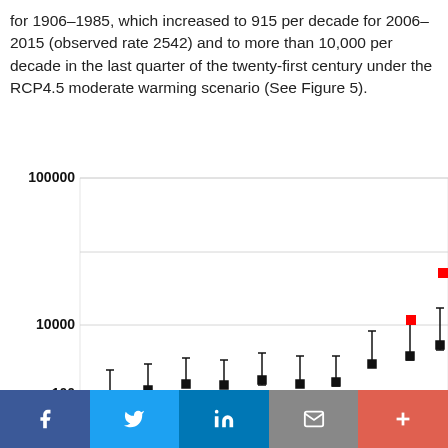for 1906–1985, which increased to 915 per decade for 2006–2015 (observed rate 2542) and to more than 10,000 per decade in the last quarter of the twenty-first century under the RCP4.5 moderate warming scenario (See Figure 5).
[Figure (continuous-plot): Logarithmic scatter/box plot showing RTS initiations per decade on y-axis (log scale: 100, 1000, 10000, 100000) over successive decades. Black square markers with error bars show increasing trend from ~70 to ~800. Red square markers appear for recent and projected periods at ~100 and ~2000+.]